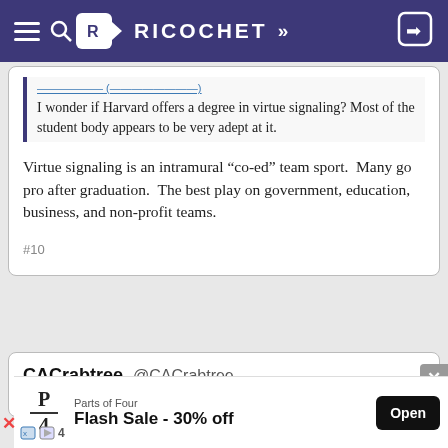RICOCHET
I wonder if Harvard offers a degree in virtue signaling? Most of the student body appears to be very adept at it.
Virtue signaling is an intramural “co-ed” team sport.  Many go pro after graduation.  The best play on government, education, business, and non-profit teams.
#10
CACrabtree @CACrabtree
12:17 PM PDT · May 17, 2022
[Figure (screenshot): Advertisement banner: Parts of Four Flash Sale - 30% off, with Open button]